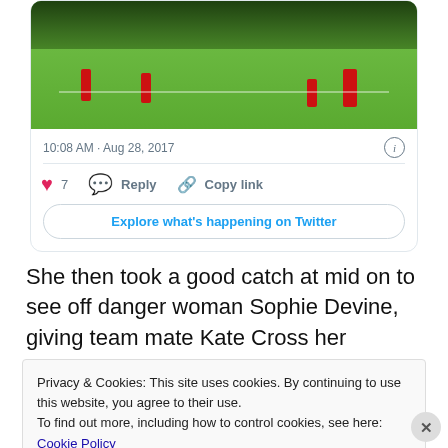[Figure (photo): Cricket match photo showing players in red uniforms on a green field with trees in background]
10:08 AM · Aug 28, 2017
7  Reply  Copy link
Explore what's happening on Twitter
She then took a good catch at mid on to see off danger woman Sophie Devine, giving team mate Kate Cross her
Privacy & Cookies: This site uses cookies. By continuing to use this website, you agree to their use.
To find out more, including how to control cookies, see here: Cookie Policy
Close and accept